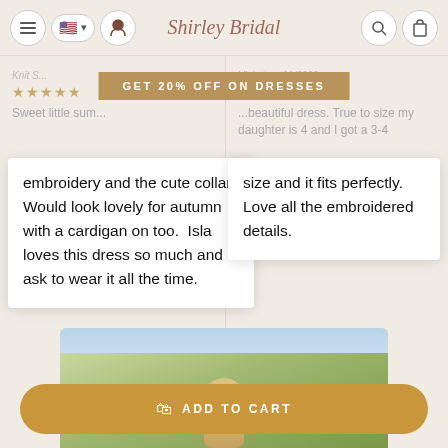Shirley Bridal — navigation bar with menu, flag/language selector, user icon, search icon, cart icon
GET 20% OFF ON DRESSES
Sweet little sum... the puffy sleeves, the embroidery and the cute collar. Would look lovely for autumn with a cardigan on too. Isla loves this dress so much and ask to wear it all the time.
...beautiful dress. True to size my daughter is 4 and I got a 3-4 size and it fits perfectly. Love all the embroidered details.
[Figure (screenshot): Bottom portion of e-commerce page showing a product photo of a child in a dress outdoors]
ADD TO CART